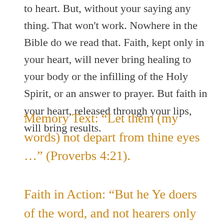to heart. But, without your saying any thing. That won't work. Nowhere in the Bible do we read that. Faith, kept only in your heart, will never bring healing to your body or the infilling of the Holy Spirit, or an answer to prayer. But faith in your heart, released through your lips, will bring results.
Memory Text: “Let them (my words) not depart from thine eyes …” (Proverbs 4:21).
Faith in Action: “But he Ye doers of the word, and not hearers only ….”